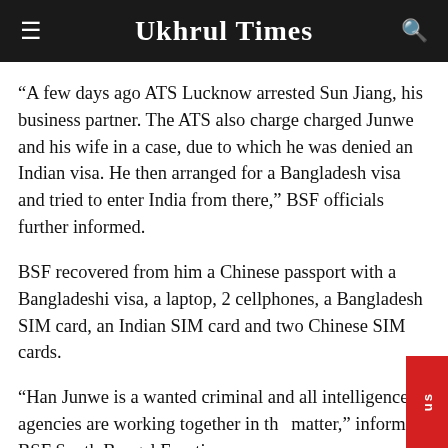Ukhrul Times
“A few days ago ATS Lucknow arrested Sun Jiang, his business partner. The ATS also charge charged Junwe and his wife in a case, due to which he was denied an Indian visa. He then arranged for a Bangladesh visa and tried to enter India from there,” BSF officials further informed.
BSF recovered from him a Chinese passport with a Bangladeshi visa, a laptop, 2 cellphones, a Bangladesh SIM card, an Indian SIM card and two Chinese SIM cards.
“Han Junwe is a wanted criminal and all intelligence agencies are working together in the matter,” informed BSF South Bengal Frontier.